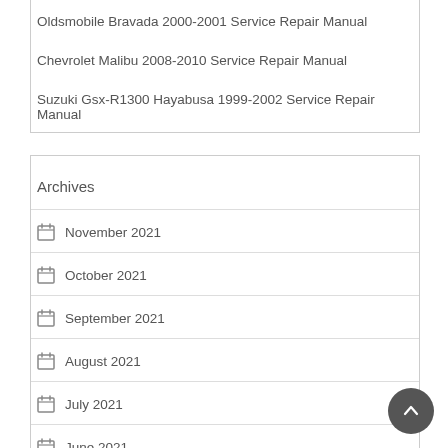Oldsmobile Bravada 2000-2001 Service Repair Manual
Chevrolet Malibu 2008-2010 Service Repair Manual
Suzuki Gsx-R1300 Hayabusa 1999-2002 Service Repair Manual
Archives
November 2021
October 2021
September 2021
August 2021
July 2021
June 2021